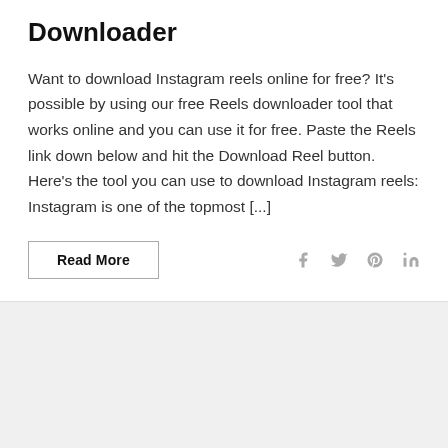Downloader
Want to download Instagram reels online for free? It's possible by using our free Reels downloader tool that works online and you can use it for free. Paste the Reels link down below and hit the Download Reel button. Here's the tool you can use to download Instagram reels: Instagram is one of the topmost [...]
Read More